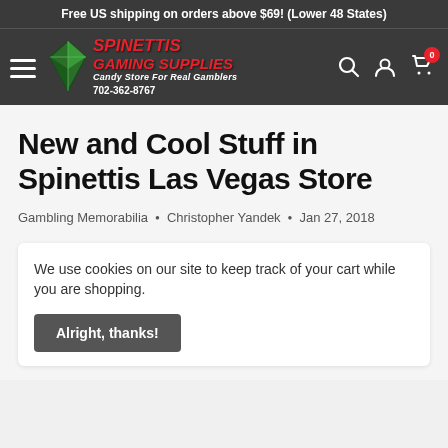Free US shipping on orders above $69! (Lower 48 States)
[Figure (logo): Spinettis Gaming Supplies logo with diamond graphic, red italic text, tagline 'Candy Store For Real Gamblers', phone 702-362-8767]
New and Cool Stuff in Spinettis Las Vegas Store
Gambling Memorabilia • Christopher Yandek • Jan 27, 2018
We use cookies on our site to keep track of your cart while you are shopping.